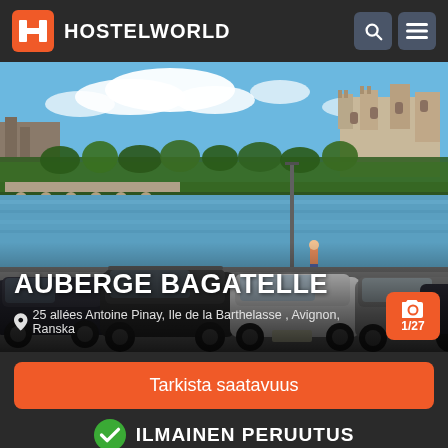HOSTELWORLD
[Figure (photo): Scenic photo of Avignon riverfront with cars parked in foreground, river Rhône in middle, and Palais des Papes and bridge visible in background under blue sky with clouds]
AUBERGE BAGATELLE
25 allées Antoine Pinay, Ile de la Barthelasse , Avignon, Ranska
1/27
Tarkista saatavuus
ILMAINEN PERUUTUS